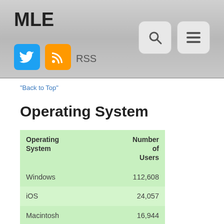MLE
"Back to Top"
Operating System
| Operating System | Number of Users |
| --- | --- |
| Windows | 112,608 |
| iOS | 24,057 |
| Macintosh | 16,944 |
| Android | 7,006 |
| Linux | 437 |
| Chrome OS | 265 |
| Windows Phone | 106 |
| (not set) | 83 |